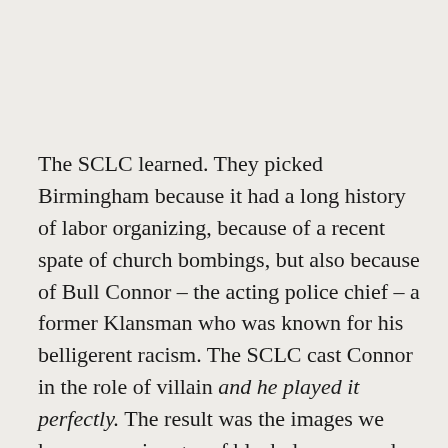The SCLC learned. They picked Birmingham because it had a long history of labor organizing, because of a recent spate of church bombings, but also because of Bull Connor – the acting police chief – a former Klansman who was known for his belligerent racism. The SCLC cast Connor in the role of villain and he played it perfectly. The result was the images we know now: images of black decency and courage, facing down white violence and racism.